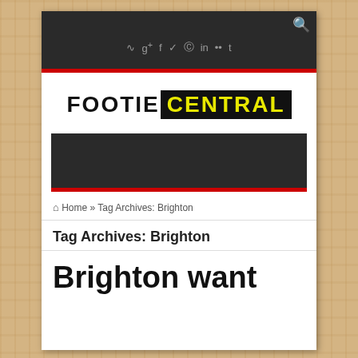[Figure (screenshot): Wood texture background]
🔍  RSS g+ f t p in ●● t — Social icons and search on dark header bar
[Figure (logo): FOOTIE CENTRAL logo — FOOTIE in black, CENTRAL in yellow on black background]
[Figure (other): Dark advertisement banner with red stripe at bottom]
🏠 Home » Tag Archives: Brighton
Tag Archives: Brighton
Brighton want